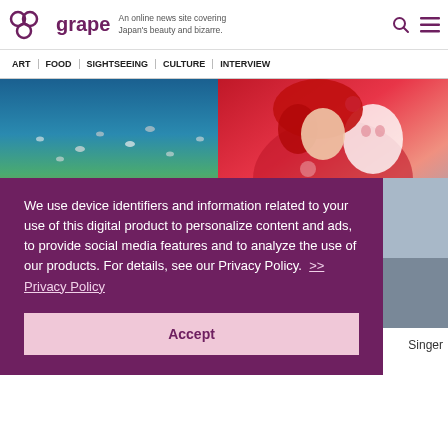grape — An online news site covering Japan's beauty and bizarre.
ART | FOOD | SIGHTSEEING | CULTURE | INTERVIEW
[Figure (photo): Underwater scene with colorful coral and fish]
[Figure (photo): Woman with red hair in floral kimono holding a mask]
We use device identifiers and information related to your use of this digital product to personalize content and ads, to provide social media features and to analyze the use of our products. For details, see our Privacy Policy.  >> Privacy Policy
Accept
Singer